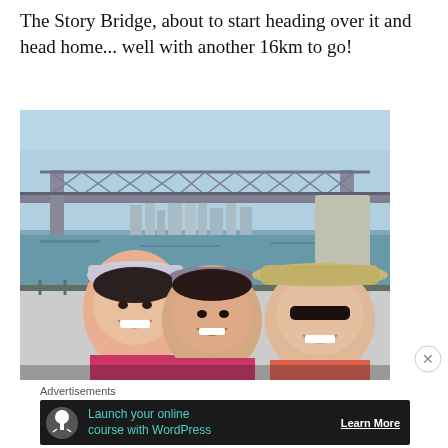The Story Bridge, about to start heading over it and head home... well with another 16km to go!
[Figure (photo): Three smiling women wearing caps/visors/hats posing for a selfie in front of the Story Bridge in Brisbane, Australia. The truss bridge is visible in the background with the Brisbane River and city skyline visible.]
Advertisements
Launch your online course with WordPress  Learn More